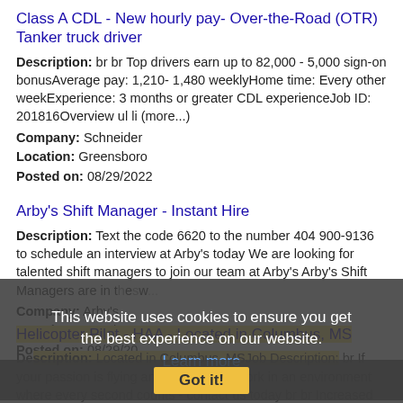Class A CDL - New hourly pay- Over-the-Road (OTR) Tanker truck driver
Description: br br Top drivers earn up to 82,000 - 5,000 sign-on bonusAverage pay: 1,210- 1,480 weeklyHome time: Every other weekExperience: 3 months or greater CDL experienceJob ID: 201816Overview ul li (more...)
Company: Schneider
Location: Greensboro
Posted on: 08/29/2022
Arby's Shift Manager - Instant Hire
Description: Text the code 6620 to the number 404 900-9136 to schedule an interview at Arby's today We are looking for talented shift managers to join our team at Arby's Arby's Shift Managers are in the (more...)
Company: Arby's
Location: Tuscaloosa
Posted on: 08/29/20...
[Figure (screenshot): Cookie consent overlay: 'This website uses cookies to ensure you get the best experience on our website. Learn more' with a 'Got it!' button]
Helicopter Pilot - HAA - Located in Columbus, MS
Description: Located in Columbus, MSJob Description: br If your passion is flying and you want to work in an environment where every second counts - contact us today br br Increased Wages as of Jul 8 '22 (more...)